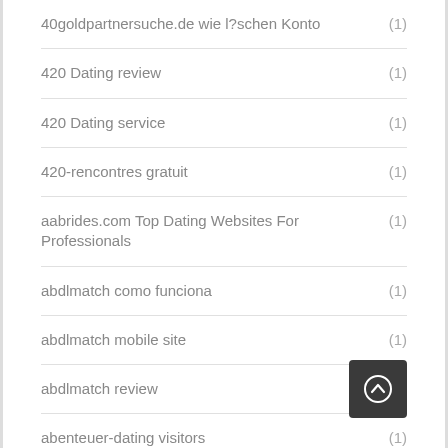40goldpartnersuche.de wie l?schen Konto (1)
420 Dating review (1)
420 Dating service (1)
420-rencontres gratuit (1)
aabrides.com Top Dating Websites For Professionals (1)
abdlmatch como funciona (1)
abdlmatch mobile site (1)
abdlmatch review
abenteuer-dating visitors (1)